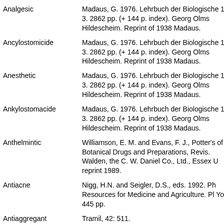| Term | Reference |
| --- | --- |
| Analgesic | Madaus, G. 1976. Lehrbuch der Biologische 1-3. 2862 pp. (+ 144 p. index). Georg Olms Hildescheim. Reprint of 1938 Madaus. |
| Ancylostomicide | Madaus, G. 1976. Lehrbuch der Biologische 1-3. 2862 pp. (+ 144 p. index). Georg Olms Hildescheim. Reprint of 1938 Madaus. |
| Anesthetic | Madaus, G. 1976. Lehrbuch der Biologische 1-3. 2862 pp. (+ 144 p. index). Georg Olms Hildescheim. Reprint of 1938 Madaus. |
| Ankylostomacide | Madaus, G. 1976. Lehrbuch der Biologische 1-3. 2862 pp. (+ 144 p. index). Georg Olms Hildescheim. Reprint of 1938 Madaus. |
| Anthelmintic | Williamson, E. M. and Evans, F. J., Potter's of Botanical Drugs and Preparations, Revis. Walden, the C. W. Daniel Co., Ltd., Essex U reprint 1989. |
| Antiacne | Nigg, H.N. and Seigler, D.S., eds. 1992. Ph Resources for Medicine and Agriculture. Pl York. 445 pp. |
| Antiaggregant IC50=0.75 | Tramil, 42: 511. |
| Antialzheimeran? | L. Gracza (1985) as cited by Buchbauer re antiacetylcholinesterase. |